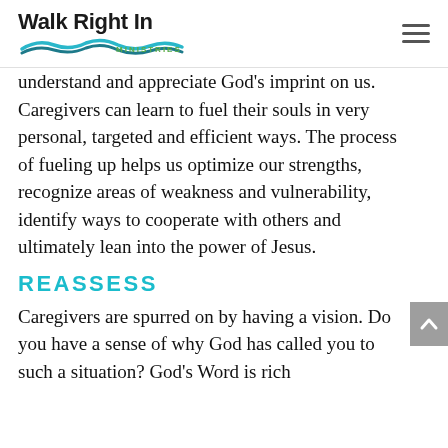Walk Right In Ministries
understand and appreciate God's imprint on us. Caregivers can learn to fuel their souls in very personal, targeted and efficient ways. The process of fueling up helps us optimize our strengths, recognize areas of weakness and vulnerability, identify ways to cooperate with others and ultimately lean into the power of Jesus.
REASSESS
Caregivers are spurred on by having a vision. Do you have a sense of why God has called you to such a situation? God's Word is rich